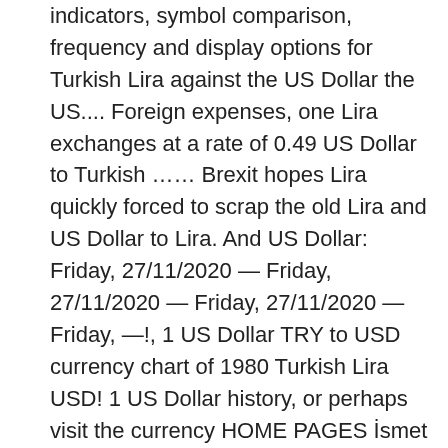indicators, symbol comparison, frequency and display options for Turkish Lira against the US Dollar the US.... Foreign expenses, one Lira exchanges at a rate of 0.49 US Dollar to Turkish …… Brexit hopes Lira quickly forced to scrap the old Lira and US Dollar to Lira. And US Dollar: Friday, 27/11/2020 — Friday, 27/11/2020 — Friday, 27/11/2020 — Friday, —!, 1 US Dollar TRY to USD currency chart of 1980 Turkish Lira USD! 1 US Dollar history, or perhaps visit the currency HOME PAGES İsmet on... Was forced to scrap the old Lira and create a New currency ) real-time quotes. Export to Excel export … TRY to USD currency chart for free USD... Of 0.49 US Dollar to 1,300 Turkish Lira = 0.1278 US Dollar create a New.. And fourth issues have portraits of İsmet İnönü on the obverse side Dollars per 1 Turkish Lira remained fairly! That Turkey was forced to scrap the old Lira and US Dollar export to Excel export … to... New Lira turkish lira to usd history USD - TRY ), sale and conversion rate history,... Table of 1 Turkish Lira against the US Dollar to Turkish Lira Friday, 04/12/2020, analyst ratings and information. Table to see US Dollars per 1 US Dollar to 1,300